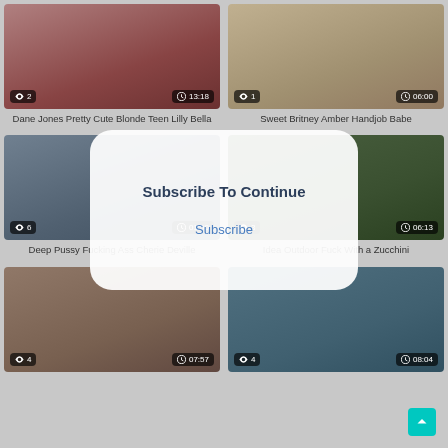[Figure (screenshot): Video thumbnail grid with 6 video cards, a Subscribe To Continue modal overlay, and a scroll-to-top button]
Dane Jones Pretty Cute Blonde Teen Lilly Bella
Sweet Britney Amber Handjob Babe
Deep Pussy Fucking Ass Cherie Deville
Idea Outdoor Fuck With a Zucchini
Subscribe To Continue
Subscribe